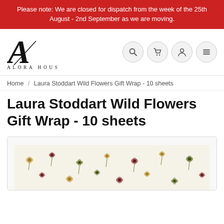Please note: We are closed for dispatch from the week of the 25th August - 2nd September as we are moving.
[Figure (logo): Alora House logo with stylized A letterform and serif text]
Home / Laura Stoddart Wild Flowers Gift Wrap - 10 sheets
Laura Stoddart Wild Flowers Gift Wrap - 10 sheets
[Figure (photo): Partial view of Laura Stoddart Wild Flowers gift wrap paper showing a floral pattern with small colourful flowers on a cream background]